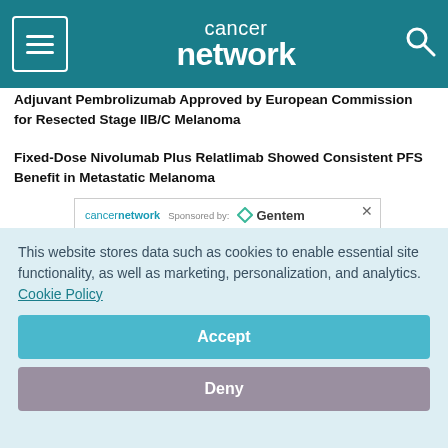cancer network
Adjuvant Pembrolizumab Approved by European Commission for Resected Stage IIB/C Melanoma
Fixed-Dose Nivolumab Plus Relatlimab Showed Consistent PFS Benefit in Metastatic Melanoma
[Figure (screenshot): Advertisement for CancerNetwork sponsored by Gentem. Shows 'cancernetwork' logo and 'Sponsored by: Gentem' text, with headline 'Less time on billing. More time for patient care.' and partial image of a person silhouette.]
This website stores data such as cookies to enable essential site functionality, as well as marketing, personalization, and analytics. Cookie Policy
Accept
Deny